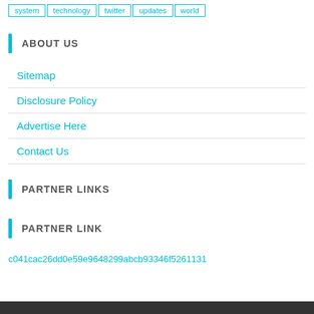system
technology
twitter
updates
world
ABOUT US
Sitemap
Disclosure Policy
Advertise Here
Contact Us
PARTNER LINKS
PARTNER LINK
c041cac26dd0e59e9648299abcb93346f5261131